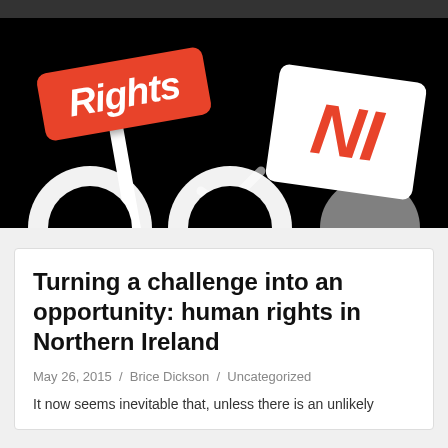[Figure (illustration): Header image on black background showing two signs: an orange/red rounded rectangle sign reading 'Rights' in white italic text on a stick, tilted left; and a white rounded rectangle card reading 'NI' in red bold italic text, tilted right. A white checkmark is visible between them. Below are partial white circular icons.]
Turning a challenge into an opportunity: human rights in Northern Ireland
May 26, 2015 / Brice Dickson / Uncategorized
It now seems inevitable that, unless there is an unlikely